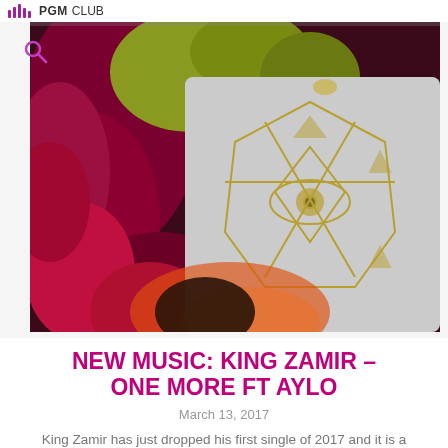PGM CLUB
[Figure (photo): A person wearing a white t-shirt with a gold geometric eye symbol, lying among red and yellow-green leaves, partially illuminated by warm light.]
NEW MUSIC: KING ZAMIR – ONE MORE FT AYLO
March 13, 2017
King Zamir has just dropped his first single of 2017 and it is a JAM ! Featuring Aylo, the song is titled One More and
VIEW MORE